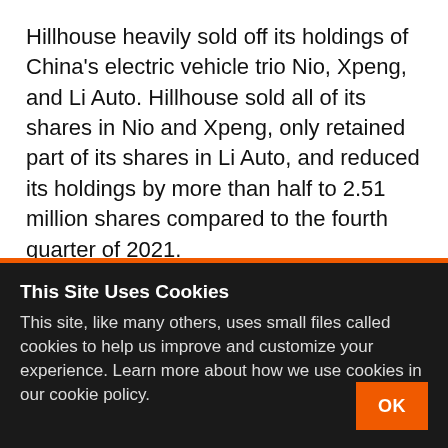Hillhouse heavily sold off its holdings of China's electric vehicle trio Nio, Xpeng, and Li Auto. Hillhouse sold all of its shares in Nio and Xpeng, only retained part of its shares in Li Auto, and reduced its holdings by more than half to 2.51 million shares compared to the fourth quarter of 2021.
In addition to Hillhouse Capital, Susquehanna
This Site Uses Cookies
This site, like many others, uses small files called cookies to help us improve and customize your experience. Learn more about how we use cookies in our cookie policy.